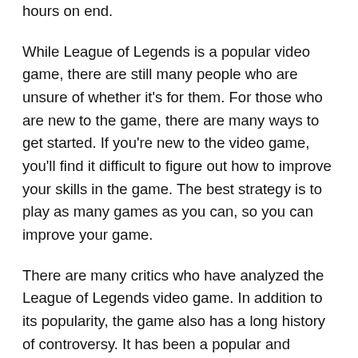hours on end.
While League of Legends is a popular video game, there are still many people who are unsure of whether it's for them. For those who are new to the game, there are many ways to get started. If you're new to the video game, you'll find it difficult to figure out how to improve your skills in the game. The best strategy is to play as many games as you can, so you can improve your game.
There are many critics who have analyzed the League of Legends video game. In addition to its popularity, the game also has a long history of controversy. It has been a popular and highly-rated video game for more than ten years. In November, Michael Graf wrote an article about the game's launch, but the game's retail release received mixed reviews. But despite the lack of reviews, fans love the game.